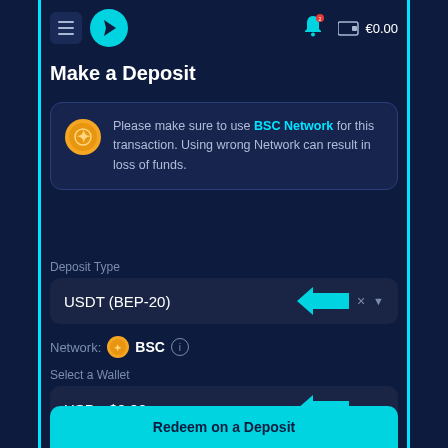€0.00
Make a Deposit
Please make sure to use BSC Network for this transaction. Using wrong Network can result in loss of funds.
Deposit Type
USDT (BEP-20)
Network: BSC
Select a Wallet
USD - $0.00
Amount in USD
25